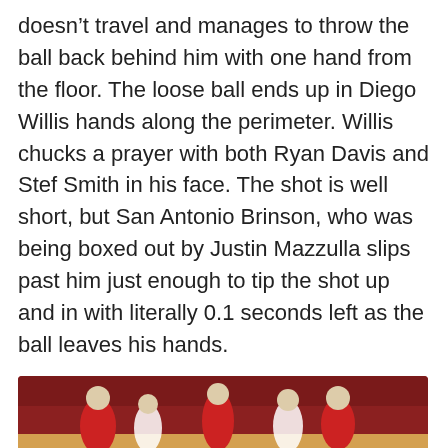doesn't travel and manages to throw the ball back behind him with one hand from the floor. The loose ball ends up in Diego Willis hands along the perimeter. Willis chucks a prayer with both Ryan Davis and Stef Smith in his face. The shot is well short, but San Antonio Brinson, who was being boxed out by Justin Mazzulla slips past him just enough to tip the shot up and in with literally 0.1 seconds left as the ball leaves his hands.
Absolute chaos.
Telling Stats & Notes – Vermont Catamounts
[Figure (photo): Basketball game photo showing players in red and white uniforms, partially visible at bottom of page]